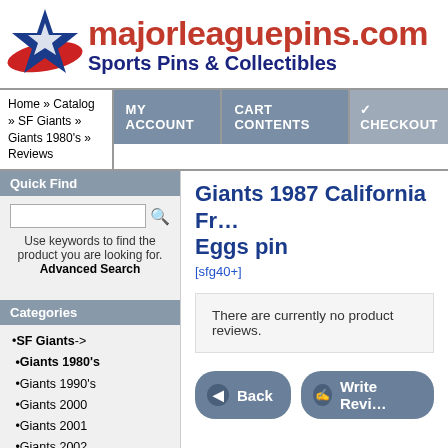[Figure (logo): majorleaguepins.com logo with blue and red star graphic, red site name text and blue subtitle 'Sports Pins & Collectibles']
Home » Catalog » SF Giants » Giants 1980's » Reviews | MY ACCOUNT | CART CONTENTS | CHECKOUT
Giants 1987 California Fr... Eggs pin
[sfg40+]
There are currently no product reviews.
Quick Find
Use keywords to find the product you are looking for. Advanced Search
Categories
•SF Giants->
•Giants 1980's
•Giants 1990's
•Giants 2000
•Giants 2001
•Giants 2002
•Giants 2003
•Giants 2004
•Giants 2005
•Giants 2006
•Giants 2007->